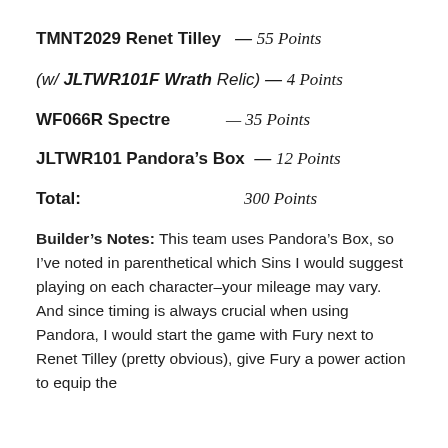TMNT2029 Renet Tilley — 55 Points
(w/ JLTWR101F Wrath Relic) — 4 Points
WF066R Spectre — 35 Points
JLTWR101 Pandora's Box — 12 Points
Total: 300 Points
Builder's Notes: This team uses Pandora's Box, so I've noted in parenthetical which Sins I would suggest playing on each character–your mileage may vary. And since timing is always crucial when using Pandora, I would start the game with Fury next to Renet Tilley (pretty obvious), give Fury a power action to equip the